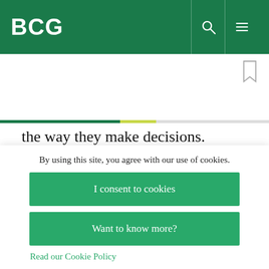BCG
the way they make decisions. Furthermore, companies that aim to fundamentally improve performance must undergo the difficult process of changing cultures.
Departments can no longer function in silos;
By using this site, you agree with our use of cookies.
I consent to cookies
Want to know more?
Read our Cookie Policy